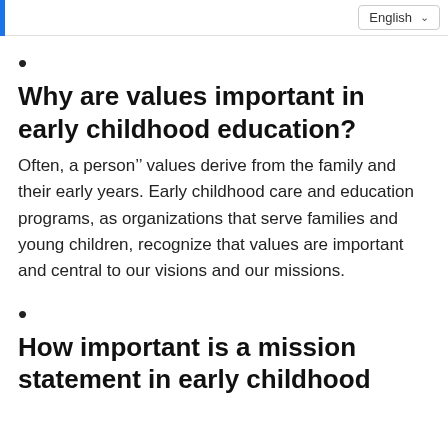English
•
Why are values important in early childhood education?
Often, a person’’ values derive from the family and their early years. Early childhood care and education programs, as organizations that serve families and young children, recognize that values are important and central to our visions and our missions.
•
How important is a mission statement in early childhood